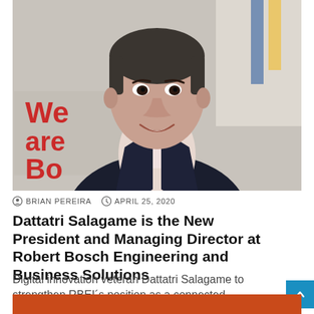[Figure (photo): Portrait photo of Dattatri Salagame, a man in a dark blazer and light shirt, smiling, with red 'We are Bosch' text in background]
BRIAN PEREIRA   APRIL 25, 2020
Dattatri Salagame is the New President and Managing Director at Robert Bosch Engineering and Business Solutions
Digital innovation veteran Dattatri Salagame to strengthen RBEI´s position as a connected-technology company